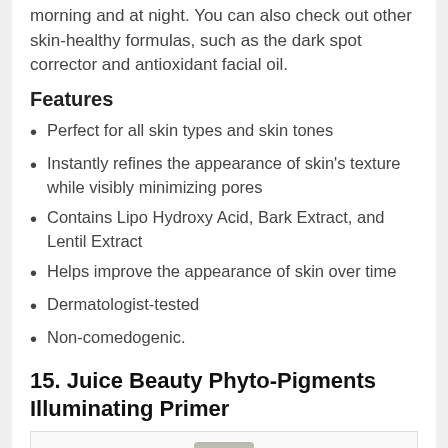morning and at night. You can also check out other skin-healthy formulas, such as the dark spot corrector and antioxidant facial oil.
Features
Perfect for all skin types and skin tones
Instantly refines the appearance of skin's texture while visibly minimizing pores
Contains Lipo Hydroxy Acid, Bark Extract, and Lentil Extract
Helps improve the appearance of skin over time
Dermatologist-tested
Non-comedogenic.
15. Juice Beauty Phyto-Pigments Illuminating Primer
[Figure (photo): Product photo of Juice Beauty Phyto-Pigments Illuminating Primer bottle, partially visible at bottom of page]